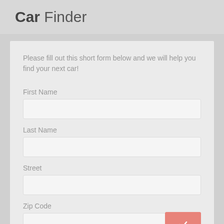Car Finder
Please fill out this short form below and we will help you find your next car!
First Name
Last Name
Street
Zip Code
City
State